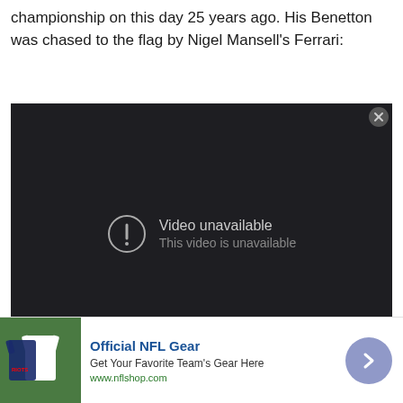championship on this day 25 years ago. His Benetton was chased to the flag by Nigel Mansell's Ferrari:
[Figure (screenshot): Embedded YouTube video player showing 'Video unavailable - This video is unavailable' message on a dark background]
[Figure (other): Advertisement for Official NFL Gear with team jerseys image, text 'Get Your Favorite Team's Gear Here', URL www.nflshop.com, and a blue arrow button]